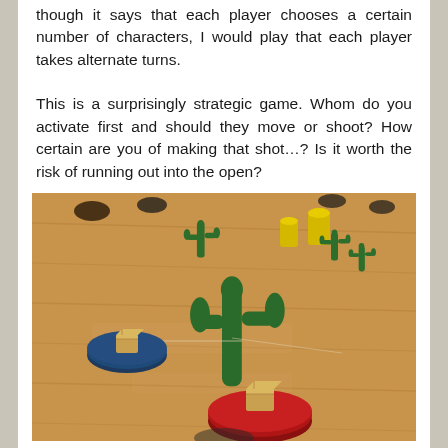though it says that each player chooses a certain number of characters, I would play that each player takes alternate turns.
This is a surprisingly strategic game. Whom do you activate first and should they move or shoot? How certain are you of making that shot…? Is it worth the risk of running out into the open?
[Figure (photo): A board game setup on a wooden floor surface. Green cactus-shaped pieces are scattered around. A dark blue circular piece with a small wooden cube sits on the left. A red circular piece with a wooden cube sits in the foreground. Yellow cylindrical pieces are visible in the background.]